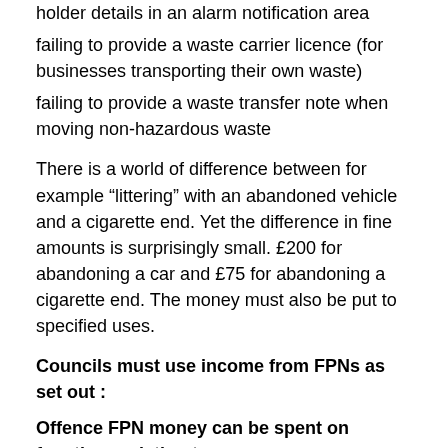holder details in an alarm notification area
failing to provide a waste carrier licence (for businesses transporting their own waste)
failing to provide a waste transfer note when moving non-hazardous waste
There is a world of difference between for example “littering” with an abandoned vehicle and a cigarette end. Yet the difference in fine amounts is surprisingly small. £200 for abandoning a car and £75 for abandoning a cigarette end. The money must also be put to specified uses.
Councils must use income from FPNs as set out :
Offence FPN money can be spent on functions relating to:
Litter – Litter, dog control, graffiti and fly-posting